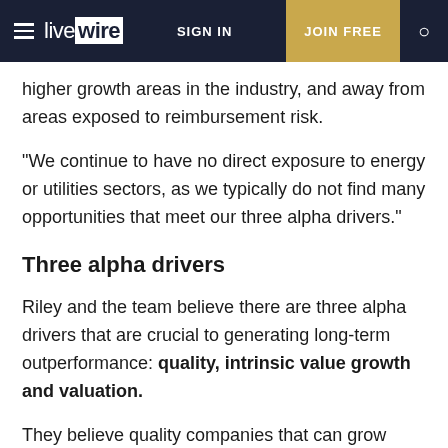live wire — SIGN IN — JOIN FREE
higher growth areas in the industry, and away from areas exposed to reimbursement risk.
"We continue to have no direct exposure to energy or utilities sectors, as we typically do not find many opportunities that meet our three alpha drivers."
Three alpha drivers
Riley and the team believe there are three alpha drivers that are crucial to generating long-term outperformance: quality, intrinsic value growth and valuation.
They believe quality companies that can grow intrinsic value over time, and which trade at an attractive valuation, are key to long-term alpha generation.